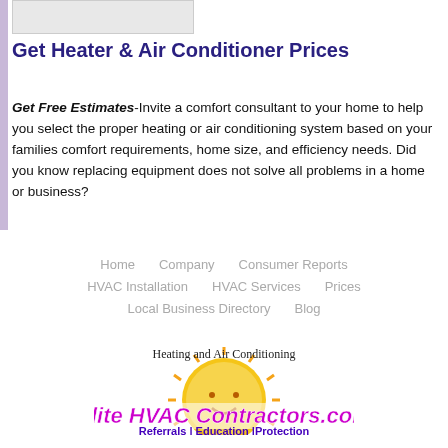[Figure (photo): Partial image of a person at the top of the page]
Get Heater & Air Conditioner Prices
Get Free Estimates-Invite a comfort consultant to your home to help you select the proper heating or air conditioning system based on your families comfort requirements, home size, and efficiency needs. Did you know replacing equipment does not solve all problems in a home or business?
Home
Company
Consumer Reports
HVAC Installation
HVAC Services
Prices
Local Business Directory
Blog
[Figure (logo): Elite HVAC Contractors.com logo with sun graphic, text: Heating and Air Conditioning, Elite HVAC Contractors.com, Referrals | Education | Protection]